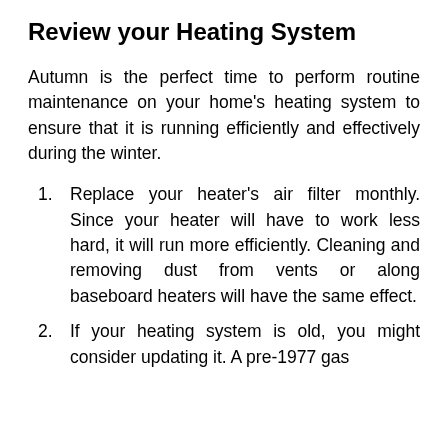Review your Heating System
Autumn is the perfect time to perform routine maintenance on your home's heating system to ensure that it is running efficiently and effectively during the winter.
Replace your heater's air filter monthly. Since your heater will have to work less hard, it will run more efficiently. Cleaning and removing dust from vents or along baseboard heaters will have the same effect.
If your heating system is old, you might consider updating it. A pre-1977 gas